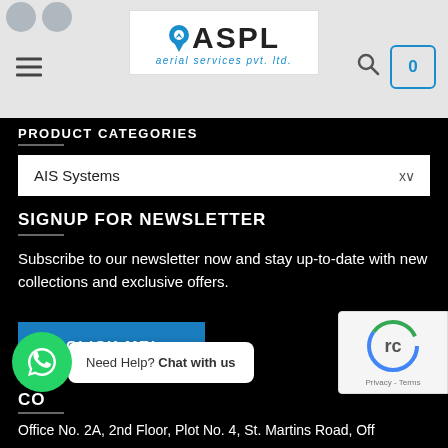[Figure (logo): ASPL aerial services pvt. ltd. logo with location pin icon]
PRODUCT CATEGORIES
AIS Systems
SIGNUP FOR NEWSLETTER
Subscribe to our newsletter now and stay up-to-date with new collections and exclusive offers.
CLICK ME!
CO
Office No. 2A, 2nd Floor, Plot No. 4, St. Martins Road, Off
[Figure (other): WhatsApp chat bubble with Need Help? Chat with us text]
[Figure (other): reCAPTCHA badge with Privacy and Terms links]